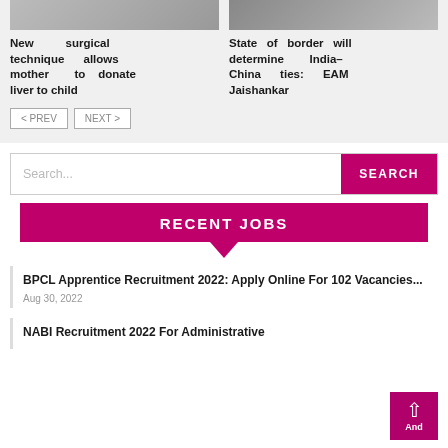[Figure (photo): Two news article thumbnail images side by side at top of page]
New surgical technique allows mother to donate liver to child
State of border will determine India-China ties: EAM Jaishankar
< PREV   NEXT >
Search...
RECENT JOBS
BPCL Apprentice Recruitment 2022: Apply Online For 102 Vacancies...
Aug 30, 2022
NABI Recruitment 2022 For Administrative